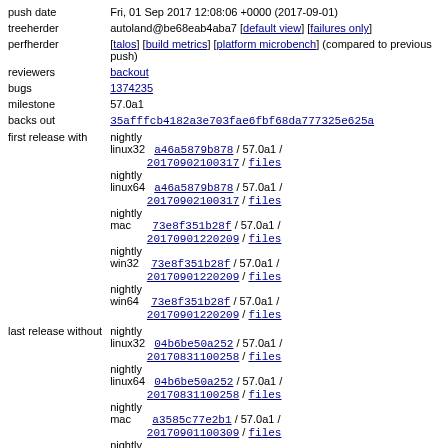| push date | Fri, 01 Sep 2017 12:08:06 +0000 (2017-09-01) |
| treeherder | autoland@be68eab4aba7 [default view] [failures only] |
| perfherder | [talos] [build metrics] [platform microbench] (compared to previous push) |
| reviewers | backout |
| bugs | 1374235 |
| milestone | 57.0a1 |
| backs out | 35afffcb4182a3e703fae6fbf68da777325e625a |
| first release with | nightly linux32 a46a5879b878 / 57.0a1 / 20170902100317 / files
nightly linux64 a46a5879b878 / 57.0a1 / 20170902100317 / files
nightly mac 73e8f351b28f / 57.0a1 / 20170901220209 / files
nightly win32 73e8f351b28f / 57.0a1 / 20170901220209 / files
nightly win64 73e8f351b28f / 57.0a1 / 20170901220209 / files |
| last release without | nightly linux32 04b6be50a252 / 57.0a1 / 20170831100258 / files
nightly linux64 04b6be50a252 / 57.0a1 / 20170831100258 / files
nightly mac a3585c77e2b1 / 57.0a1 / 20170901100309 / files
nightly win32 a3585c77e2b1 / 57.0a1 / 20170901100309 / files
nightly win64 a3585c77e2b1 / 57.0a1 / 20170901100309 / files |